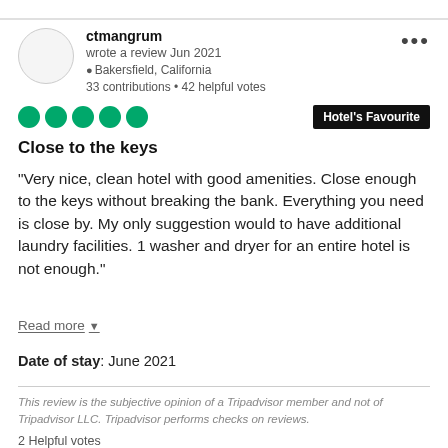ctmangrum
wrote a review Jun 2021
Bakersfield, California
33 contributions • 42 helpful votes
[Figure (other): Five green filled circles representing a 5-bubble rating on TripAdvisor]
Hotel's Favourite
Close to the keys
“Very nice, clean hotel with good amenities. Close enough to the keys without breaking the bank. Everything you need is close by. My only suggestion would to have additional laundry facilities. 1 washer and dryer for an entire hotel is not enough.”
Read more
Date of stay: June 2021
This review is the subjective opinion of a Tripadvisor member and not of Tripadvisor LLC. Tripadvisor performs checks on reviews.
2 Helpful votes